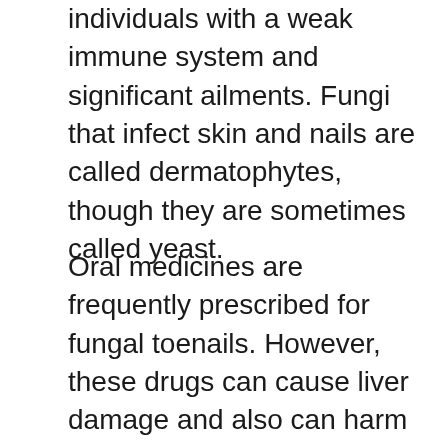individuals with a weak immune system and significant ailments. Fungi that infect skin and nails are called dermatophytes, though they are sometimes called yeast.
Oral medicines are frequently prescribed for fungal toenails. However, these drugs can cause liver damage and also can harm your health and wellness. Dental treatment is generally not as effective as topical therapies, and also may take a couple of months to work. Topical medicines might be a better selection, yet they are less effective. Along with taking antifungal tablets, you can also seek specialist therapy for nail fungus.
Treatments
There are a number of sorts of therapies for